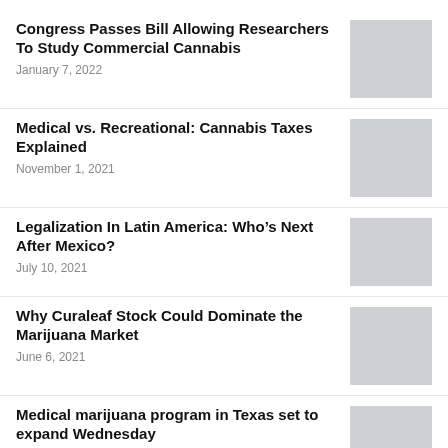Congress Passes Bill Allowing Researchers To Study Commercial Cannabis
January 7, 2022
[Figure (photo): Thumbnail image placeholder for article 1]
Medical vs. Recreational: Cannabis Taxes Explained
November 1, 2021
[Figure (photo): Thumbnail image placeholder for article 2]
Legalization In Latin America: Who’s Next After Mexico?
July 10, 2021
[Figure (photo): Thumbnail image placeholder for article 3]
Why Curaleaf Stock Could Dominate the Marijuana Market
June 6, 2021
[Figure (photo): Thumbnail image placeholder for article 4]
Medical marijuana program in Texas set to expand Wednesday
September 27, 2021
[Figure (photo): Thumbnail image placeholder for article 5]